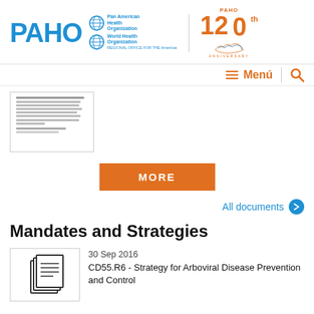[Figure (logo): PAHO logo with Pan American Health Organization and World Health Organization text, plus PAHO 120th Anniversary logo with map]
≡ Menú
[Figure (screenshot): Small thumbnail of a document page with text lines]
MORE
All documents →
Mandates and Strategies
[Figure (illustration): Document icon with stacked pages]
30 Sep 2016
CD55.R6 - Strategy for Arboviral Disease Prevention and Control